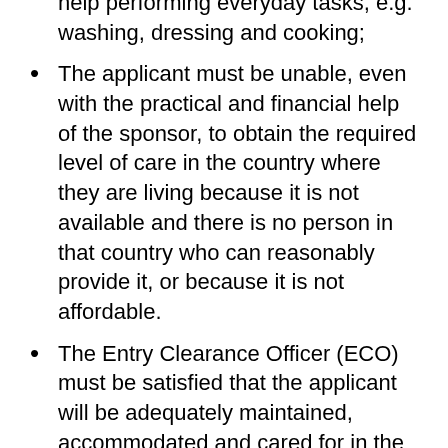help performing everyday tasks, e.g. washing, dressing and cooking;
The applicant must be unable, even with the practical and financial help of the sponsor, to obtain the required level of care in the country where they are living because it is not available and there is no person in that country who can reasonably provide it, or because it is not affordable.
The Entry Clearance Officer (ECO) must be satisfied that the applicant will be adequately maintained, accommodated and cared for in the UK by the sponsor without recourse to public funds. If the sponsor is a British citizen or settled in the